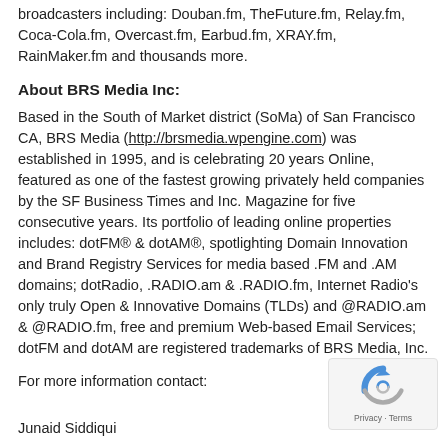broadcasters including: Douban.fm, TheFuture.fm, Relay.fm, Coca-Cola.fm, Overcast.fm, Earbud.fm, XRAY.fm, RainMaker.fm and thousands more.
About BRS Media Inc:
Based in the South of Market district (SoMa) of San Francisco CA, BRS Media (http://brsmedia.wpengine.com) was established in 1995, and is celebrating 20 years Online, featured as one of the fastest growing privately held companies by the SF Business Times and Inc. Magazine for five consecutive years. Its portfolio of leading online properties includes: dotFM® & dotAM®, spotlighting Domain Innovation and Brand Registry Services for media based .FM and .AM domains; dotRadio, .RADIO.am & .RADIO.fm, Internet Radio's only truly Open & Innovative Domains (TLDs) and @RADIO.am & @RADIO.fm, free and premium Web-based Email Services; dotFM and dotAM are registered trademarks of BRS Media, Inc.
For more information contact:
Junaid Siddiqui
BRS Media Inc.
[Figure (other): reCAPTCHA privacy badge with circular arrow logo and 'Privacy - Terms' text]